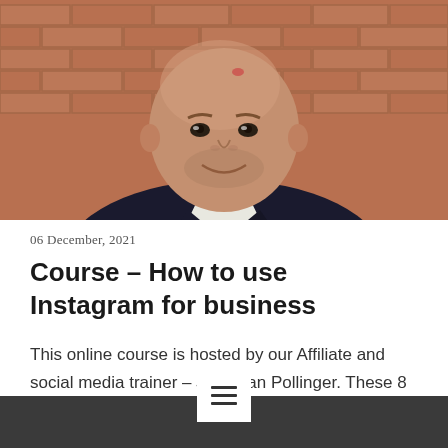[Figure (photo): Smiling bald man with stubble beard wearing a dark blazer and white shirt, standing in front of a brick wall background.]
06 December, 2021
Course – How to use Instagram for business
This online course is hosted by our Affiliate and social media trainer – Jonathan Pollinger. These 8 modules will help you gain clarity and confidence using Instagram for your business. Each module